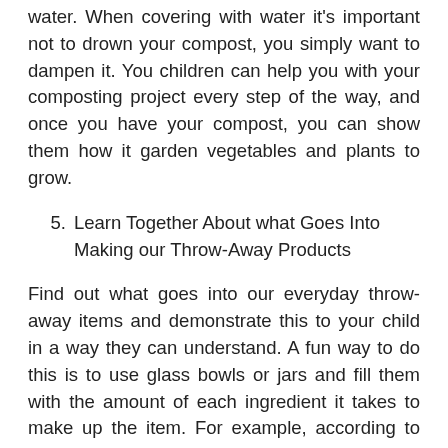water. When covering with water it's important not to drown your compost, you simply want to dampen it. You children can help you with your composting project every step of the way, and once you have your compost, you can show them how it garden vegetables and plants to grow.
5. Learn Together About what Goes Into Making our Throw-Away Products
Find out what goes into our everyday throw-away items and demonstrate this to your child in a way they can understand. A fun way to do this is to use glass bowls or jars and fill them with the amount of each ingredient it takes to make up the item. For example, according to the Pacific Institute the amount of energy taken to create a plastic bottle is equivalent to filling around ¼ of its total capacity with oil, and the amount of water is twice that of its full capacity. Get your bottle, get your bowl and fill it up with oil and water, once your youngster sees them side by side they're likely to be surprised to see that so much of each ingredient goes into an item we throw away after just